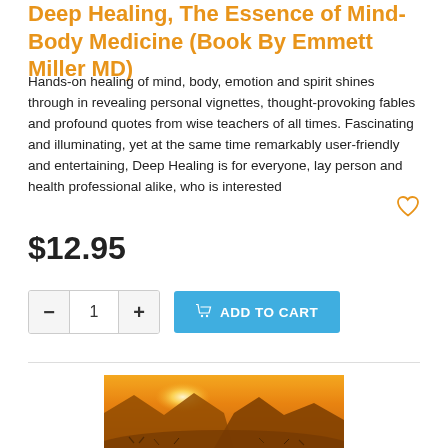Deep Healing, The Essence of Mind-Body Medicine (Book By Emmett Miller MD)
Hands-on healing of mind, body, emotion and spirit shines through in revealing personal vignettes, thought-provoking fables and profound quotes from wise teachers of all times. Fascinating and illuminating, yet at the same time remarkably user-friendly and entertaining, Deep Healing is for everyone, lay person and health professional alike, who is interested
$12.95
ADD TO CART
[Figure (photo): Warm golden-orange sunset landscape over mountains and desert scrubland]